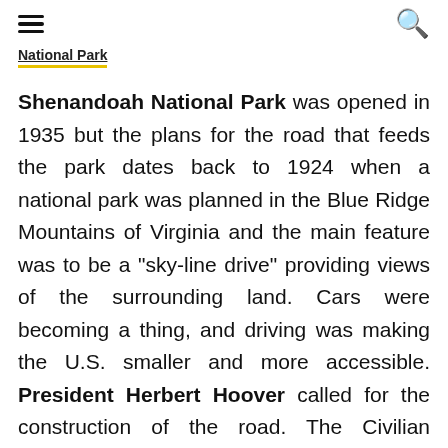≡  🔍
National Park
Shenandoah National Park was opened in 1935 but the plans for the road that feeds the park dates back to 1924 when a national park was planned in the Blue Ridge Mountains of Virginia and the main feature was to be a "sky-line drive" providing views of the surrounding land. Cars were becoming a thing, and driving was making the U.S. smaller and more accessible. President Herbert Hoover called for the construction of the road. The Civilian Conservation Corps played a large part in constructing Skyline Drive. Improvements have been made to the roadway since it was built. The drive's northern end is at an intersection with U.S. Route 340 (US 340) near Front Royal, and the southern end is at an interchange with US 250 near Interstate 64 (I-64) in